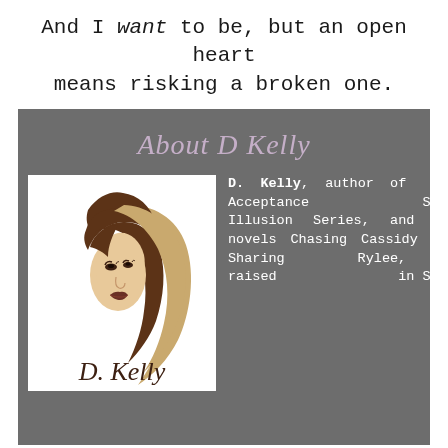And I want to be, but an open heart means risking a broken one.
About D Kelly
[Figure (logo): D. Kelly author logo: stylized woman's face silhouette with brown and tan hair, with cursive 'D. Kelly' text below, on white background]
D. Kelly, author of The Acceptance Series, The Illusion Series, and standalone companion novels Chasing Cassidy and Sharing Rylee, was born and raised in Southern